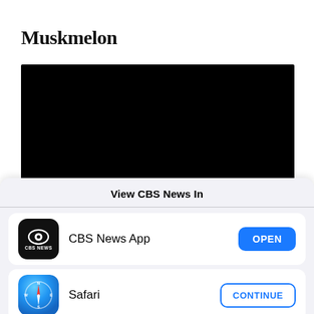Muskmelon
[Figure (photo): Large black rectangle, likely a video or image placeholder]
View CBS News In
[Figure (logo): CBS News app icon - black rounded square with CBS eye logo and CBS NEWS text]
CBS News App
[Figure (logo): Safari browser icon - blue compass/compass rose on gradient blue circle]
Safari